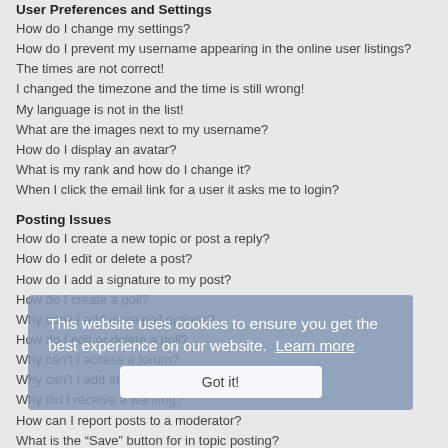User Preferences and Settings
How do I change my settings?
How do I prevent my username appearing in the online user listings?
The times are not correct!
I changed the timezone and the time is still wrong!
My language is not in the list!
What are the images next to my username?
How do I display an avatar?
What is my rank and how do I change it?
When I click the email link for a user it asks me to login?
Posting Issues
How do I create a new topic or post a reply?
How do I edit or delete a post?
How do I add a signature to my post?
How do I create a poll?
Why can't I add more poll options?
How do I edit or delete a poll?
Why can't I access a forum?
Why can't I add attachments?
Why did I receive a warning?
How can I report posts to a moderator?
What is the “Save” button for in topic posting?
Why does my post need to be approved?
How do I bump my topic?
This website uses cookies to ensure you get the best experience on our website. Learn more Got it!